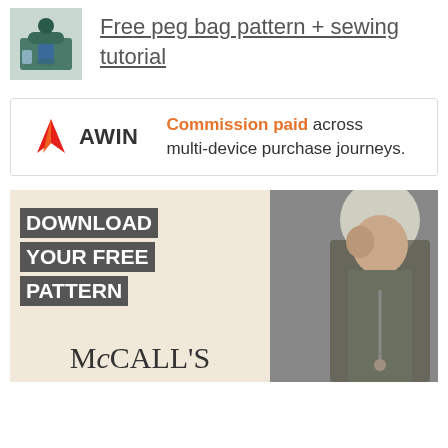[Figure (photo): Small thumbnail image of a teal/blue peg bag or craft item]
Free peg bag pattern + sewing tutorial
[Figure (other): Awin advertisement banner: Commission paid across multi-device purchase journeys.]
[Figure (photo): McCall's sewing pattern advertisement: DOWNLOAD YOUR FREE PATTERN with a photo of a woman in a floral dress]